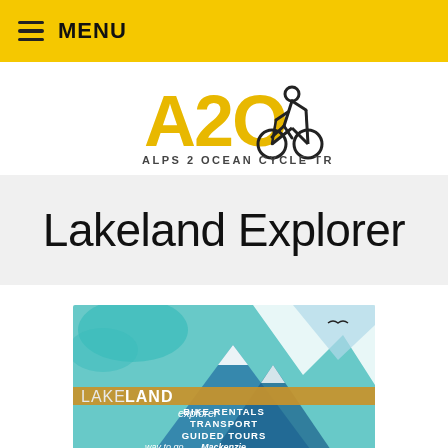MENU
[Figure (logo): Alps 2 Ocean Cycle Trail logo with cyclist icon and text 'A2O ALPS 2 OCEAN CYCLE TRAIL']
Lakeland Explorer
[Figure (illustration): Lakeland Explorer advertisement banner with teal mountain background showing 'LAKELAND explorer BIKE RENTALS TRANSPORT GUIDED TOURS way to go Mackenzie']